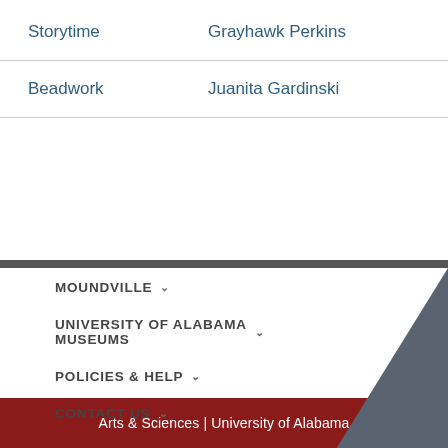| Activity | Person |
| --- | --- |
| Storytime | Grayhawk Perkins |
| Beadwork | Juanita Gardinski |
MOUNDVILLE ∨
UNIVERSITY OF ALABAMA MUSEUMS ∨
POLICIES & HELP ∨
CONTACT US ∨
Arts & Sciences | University of Alabama